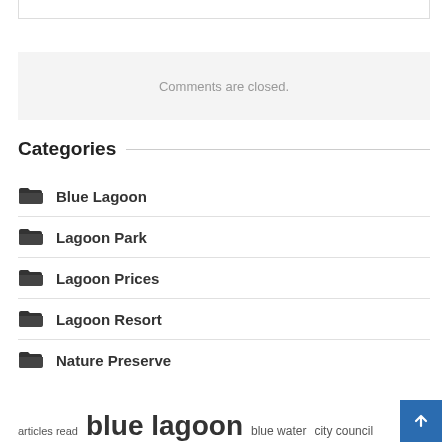Comments are closed.
Categories
Blue Lagoon
Lagoon Park
Lagoon Prices
Lagoon Resort
Nature Preserve
articles read   blue lagoon   blue water   city council